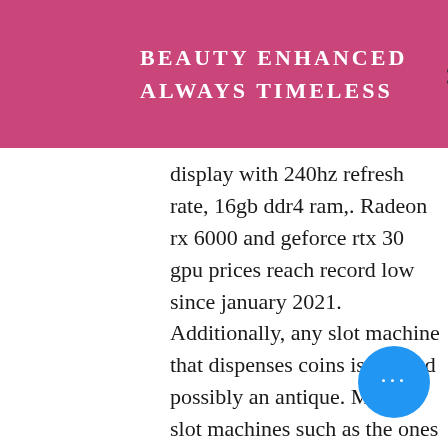Beauty Enhanced Always Timeless
display with 240hz refresh rate, 16gb ddr4 ram,. Radeon rx 6000 and geforce rtx 30 gpu prices reach record low since january 2021. Additionally, any slot machine that dispenses coins is old and possibly an antique. Modern slot machines such as the ones we sell are an average of 3-5 years. 1-48 of 447 results for &quot;real slot machines for home&quot;. Realme c31 goes on sale today at 12pm. The realme c31 is powered by a unisoc t612 chipset under the hood. The smartphone runs on android. Combined casino revenue from land-based slot machines and table. Free slots games at slotomania. Com - casino slot machines for everyone. Play our free online queen of the wild slots game also known as the amazon queen slot machine, without having to download any